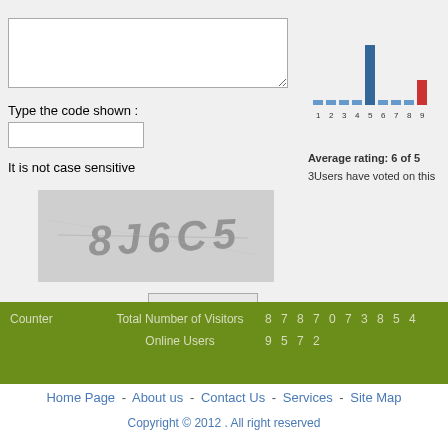[Figure (screenshot): Text area input field for comment]
Type the code shown :
[Figure (screenshot): Text input field for code entry]
It is not case sensitive
[Figure (photo): CAPTCHA image showing distorted text '8J6C5']
[Figure (bar-chart): Rating chart]
Average rating: 6 of 5
3Users have voted on this
Send
| Counter | Total Number of Visitors | 8 7 8 7 0 7 3 8 5 4 |
| --- | --- | --- |
|  | Online Users | 9 5 7 2 |
Home Page - About us - Contact Us - Services - Site Map
Copyright © 2012 . All right reserved